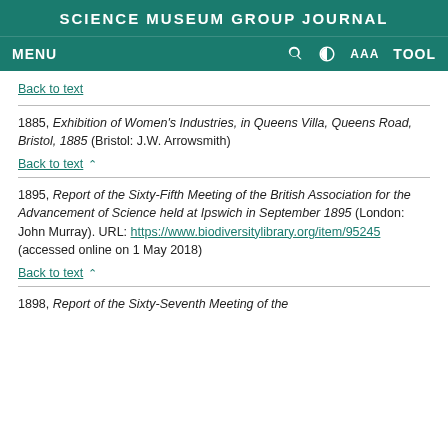SCIENCE MUSEUM GROUP JOURNAL
Back to text
1885, Exhibition of Women's Industries, in Queens Villa, Queens Road, Bristol, 1885 (Bristol: J.W. Arrowsmith)
Back to text ^
1895, Report of the Sixty-Fifth Meeting of the British Association for the Advancement of Science held at Ipswich in September 1895 (London: John Murray). URL: https://www.biodiversitylibrary.org/item/95245 (accessed online on 1 May 2018)
Back to text ^
1898, Report of the Sixty-Seventh Meeting of the